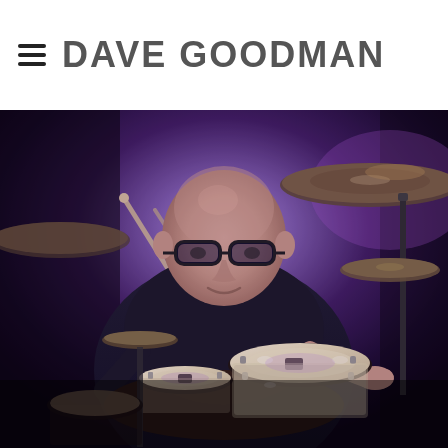DAVE GOODMAN
[Figure (photo): A bald man with glasses wearing a black t-shirt sitting behind a drum kit with cymbals and drum pads, lit with purple stage lighting against a dark background.]